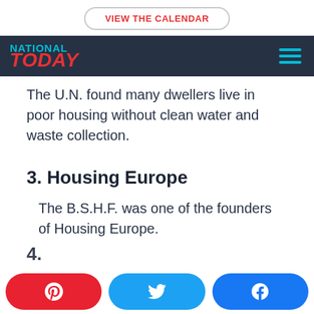VIEW THE CALENDAR
[Figure (logo): National Today logo with navigation bar on dark blue background]
The U.N. found many dwellers live in poor housing without clean water and waste collection.
3. Housing Europe
The B.S.H.F. was one of the founders of Housing Europe.
Pinterest, Twitter, Facebook share buttons